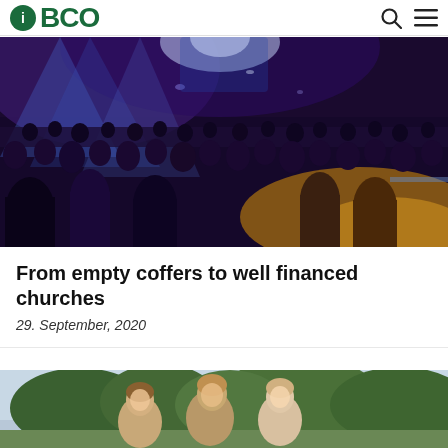BCO
[Figure (photo): Large crowd at an indoor concert or event with stage lighting in blue and yellow/gold tones, audience viewed from behind]
From empty coffers to well financed churches
29. September, 2020
[Figure (photo): Three young women smiling outdoors, with green trees and a light sky in the background]